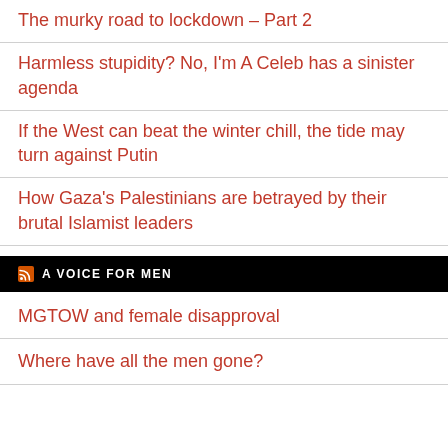The murky road to lockdown – Part 2
Harmless stupidity? No, I'm A Celeb has a sinister agenda
If the West can beat the winter chill, the tide may turn against Putin
How Gaza's Palestinians are betrayed by their brutal Islamist leaders
A VOICE FOR MEN
MGTOW and female disapproval
Where have all the men gone?